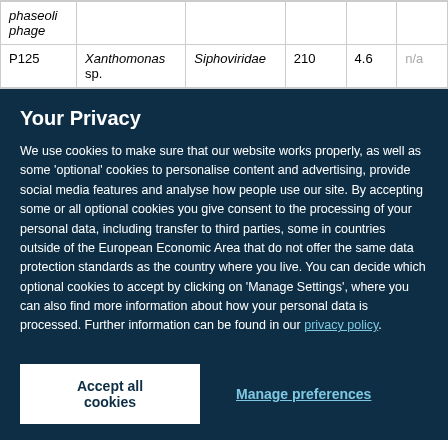| phaseoli phage |  |  |  |  |  |
| P125 | Xanthomonas sp. | Siphoviridae | 210 | 4.6 | n/a |
Your Privacy
We use cookies to make sure that our website works properly, as well as some 'optional' cookies to personalise content and advertising, provide social media features and analyse how people use our site. By accepting some or all optional cookies you give consent to the processing of your personal data, including transfer to third parties, some in countries outside of the European Economic Area that do not offer the same data protection standards as the country where you live. You can decide which optional cookies to accept by clicking on 'Manage Settings', where you can also find more information about how your personal data is processed. Further information can be found in our privacy policy.
Accept all cookies
Manage preferences